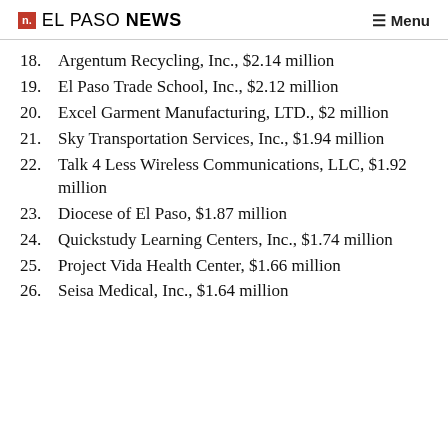n. EL PASO NEWS   ≡ Menu
18. Argentum Recycling, Inc., $2.14 million
19. El Paso Trade School, Inc., $2.12 million
20. Excel Garment Manufacturing, LTD., $2 million
21. Sky Transportation Services, Inc., $1.94 million
22. Talk 4 Less Wireless Communications, LLC, $1.92 million
23. Diocese of El Paso, $1.87 million
24. Quickstudy Learning Centers, Inc., $1.74 million
25. Project Vida Health Center, $1.66 million
26. Seisa Medical, Inc., $1.64 million